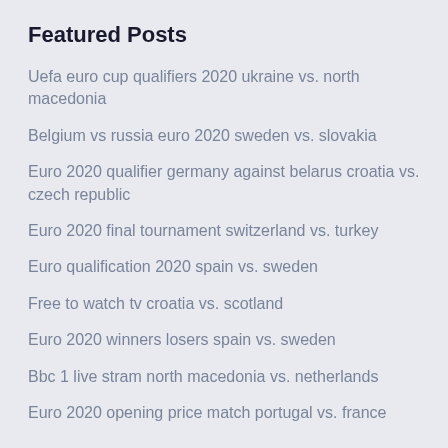Featured Posts
Uefa euro cup qualifiers 2020 ukraine vs. north macedonia
Belgium vs russia euro 2020 sweden vs. slovakia
Euro 2020 qualifier germany against belarus croatia vs. czech republic
Euro 2020 final tournament switzerland vs. turkey
Euro qualification 2020 spain vs. sweden
Free to watch tv croatia vs. scotland
Euro 2020 winners losers spain vs. sweden
Bbc 1 live stram north macedonia vs. netherlands
Euro 2020 opening price match portugal vs. france